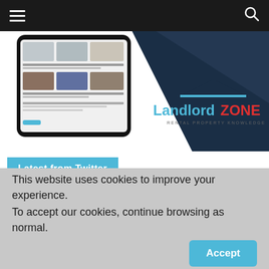Navigation bar with hamburger menu and search icon
[Figure (screenshot): LandlordZONE website banner showing a smartphone with news articles and the LandlordZONE logo with tagline 'RENTAL PROPERTY KNOWLEDGE' on a dark navy and white geometric background]
Latest from Twitter
LandlordZO... ✓ @LandlordZ... · Aug 18
INVESTIGATION: Exasperated landlord warns
This website uses cookies to improve your experience.
To accept our cookies, continue browsing as normal.